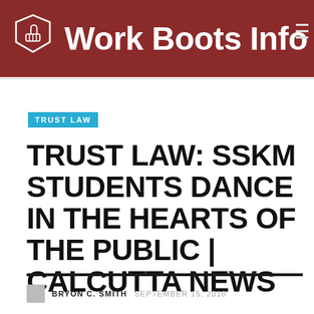Work Boots Info
TRUST LAW
TRUST LAW: SSKM STUDENTS DANCE IN THE HEARTS OF THE PUBLIC | CALCUTTA NEWS
BRYON C. SMITH  SEPTEMBER 15, 2018